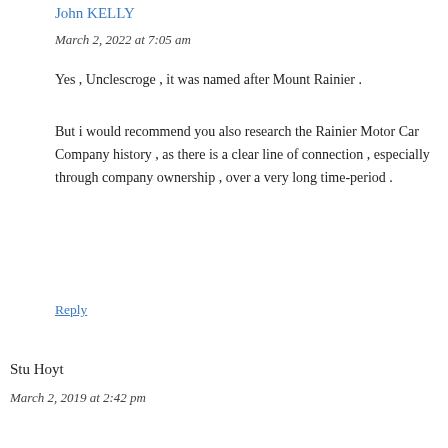John KELLY
March 2, 2022 at 7:05 am
Yes , Unclescroge , it was named after Mount Rainier .
But i would recommend you also research the Rainier Motor Car Company history , as there is a clear line of connection , especially through company ownership , over a very long time-period .
Reply
Stu Hoyt
March 2, 2019 at 2:42 pm